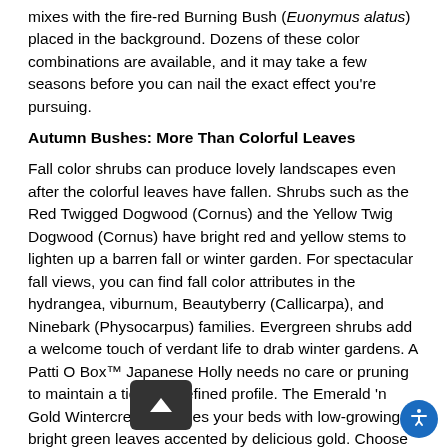mixes with the fire-red Burning Bush (Euonymus alatus) placed in the background. Dozens of these color combinations are available, and it may take a few seasons before you can nail the exact effect you're pursuing.
Autumn Bushes: More Than Colorful Leaves
Fall color shrubs can produce lovely landscapes even after the colorful leaves have fallen. Shrubs such as the Red Twigged Dogwood (Cornus) and the Yellow Twig Dogwood (Cornus) have bright red and yellow stems to lighten up a barren fall or winter garden. For spectacular fall views, you can find fall color attributes in the hydrangea, viburnum, Beautyberry (Callicarpa), and Ninebark (Physocarpus) families. Evergreen shrubs add a welcome touch of verdant life to drab winter gardens. A Patti O Box™ Japanese Holly needs no care or pruning to maintain a tidy and refined profile. The Emerald 'n Gold Wintercreeper edges your beds with low-growing bright green leaves accented by delicious gold. Choose a PJM Rhododendron for stunning lavender flowers in spring and rich, full dark green foliage that deepens a delightful purple-russet shade in winter.